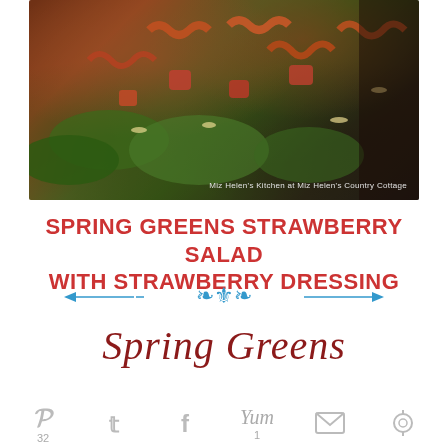[Figure (photo): Close-up photo of a spring greens strawberry salad with pasta, strawberries, and leafy greens on a plate. Caption reads: Miz Helen's Kitchen at Miz Helen's Country Cottage]
SPRING GREENS STRAWBERRY SALAD WITH STRAWBERRY DRESSING
[Figure (illustration): Decorative blue divider with ornamental scroll design and arrow ends]
[Figure (logo): Spring Greens logo in dark red cursive script]
[Figure (infographic): Social sharing bar with Pinterest (32), Twitter, Facebook, Yum (1), Email, and share icons]